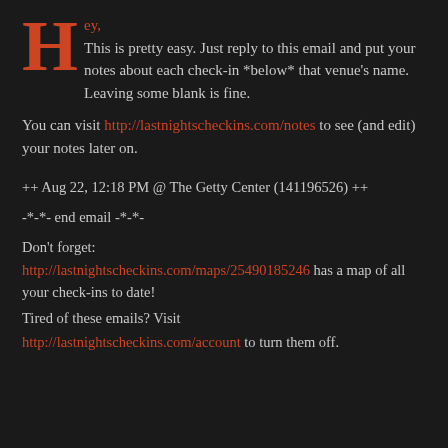Hey, This is pretty easy. Just reply to this email and put your notes about each check-in *below* that venue's name. Leaving some blank is fine.
You can visit http://lastnightscheckins.com/notes to see (and edit) your notes later on.
++ Aug 22, 12:18 PM @ The Getty Center (141196526) ++
-*-*- end email -*-*-
Don't forget:
http://lastnightscheckins.com/maps/25490185246 has a map of all your check-ins to date!
Tired of these emails? Visit http://lastnightscheckins.com/account to turn them off.